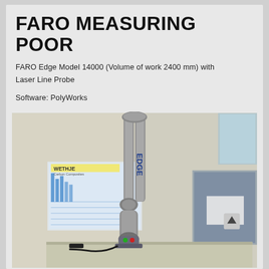FARO MEASURING POOR
FARO Edge Model 14000 (Volume of work 2400 mm) with Laser Line Probe
Software: PolyWorks
[Figure (photo): Photo of a FARO Edge articulated arm measuring machine (Model 14000) mounted on a table in a workshop. The arm is silver/grey with 'EDGE' text visible. In the background is a Wethje Carbon Composites banner and a measurement chart on the wall.]